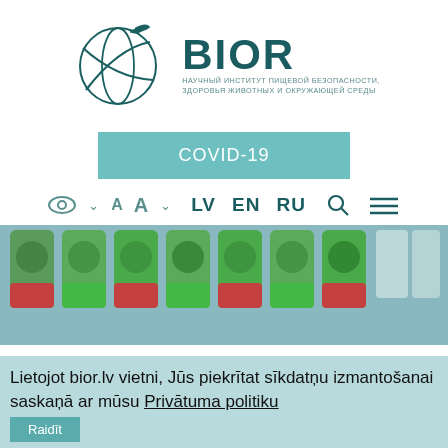[Figure (logo): BIOR institute logo with globe/leaf SVG graphic and Russian subtitle text: НАУЧНЫЙ ИНСТИТУТ ПИЩЕВОЙ БЕЗОПАСНОСТИ, ЗДОРОВЬЯ ЖИВОТНЫХ И ОКРУЖАЮЩЕЙ СРЕДЫ]
[Figure (other): Teal/green COVID-19 button banner]
[Figure (screenshot): Website navigation bar with eye/accessibility icon, AA text size, LV EN RU language selectors, search icon, and hamburger menu]
[Figure (photo): Close-up photo of green-capped laboratory vials/test tubes in rows]
Lietojot bior.lv vietni, Jūs piekrītat sīkdatņu izmantošanai saskaņā ar mūsu Privātuma politiku
[Figure (other): Partially visible dismiss/Raidīt button at bottom]